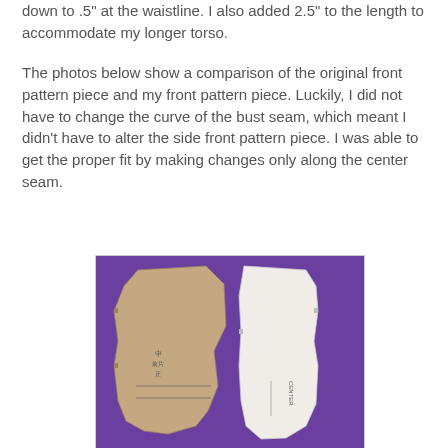down to .5" at the waistline. I also added 2.5" to the length to accommodate my longer torso.
The photos below show a comparison of the original front pattern piece and my front pattern piece. Luckily, I did not have to change the curve of the bust seam, which meant I didn't have to alter the side front pattern piece. I was able to get the proper fit by making changes only along the center seam.
[Figure (photo): Photo showing two sewing pattern pieces side by side on a purple background: the original brown/tan pattern piece on the left and a new white pattern piece on the right, both for the front bodice.]